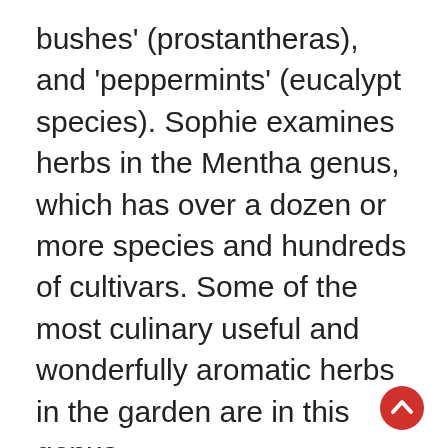bushes' (prostantheras), and 'peppermints' (eucalypt species). Sophie examines herbs in the Mentha genus, which has over a dozen or more species and hundreds of cultivars. Some of the most culinary useful and wonderfully aromatic herbs in the garden are in this genus.
River Mint or Wild Mint (Mentha australis) is a widespread native mint in Australia and is strongly aromatic, pungent and minty. Common Mint or Garden Mint (Mentha spicata) has a